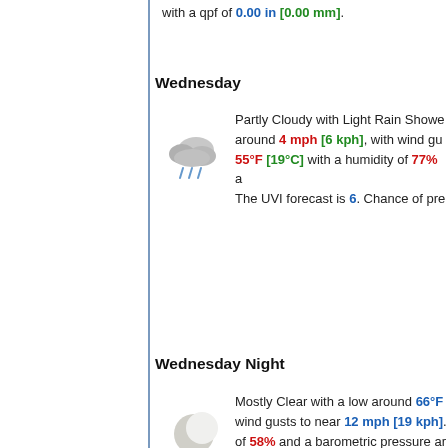with a qpf of 0.00 in [0.00 mm].
Wednesday
Partly Cloudy with Light Rain Showers around 4 mph [6 kph], with wind gusts to near ... 55°F [19°C] with a humidity of 77% and a ... The UVI forecast is 6. Chance of pre...
Wednesday Night
Mostly Clear with a low around 66°F ... wind gusts to near 12 mph [19 kph]. of 58% and a barometric pressure ar... with a qpf of 0.00 in [0.00 mm].
Thursday
Cloudy with Light Rain Showers with ... mph [6 kph], with wind gusts to nea... [19°C] with a humidity of 84% and a ... UVI forecast is 6. Chance of precipita...
Thursday Night
Mostly Cloudy with Light Rain Showe... to around 10 mph [16 kph], with win...